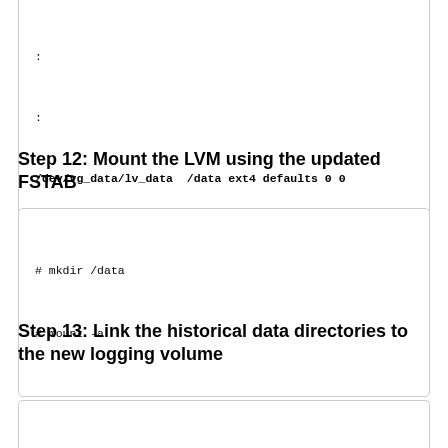[Figure (screenshot): Code block showing partial /etc/fstab content with colons and /dev/vg_data/lv_data line]
Step 12: Mount the LVM using the updated FSTAB
[Figure (screenshot): Code block with mkdir /data and mount -a commands]
Step 13: Link the historical data directories to the new logging volume
[Figure (screenshot): Code block starting with: # for i in `find "/data.old/logs/" -maxdepth 1]